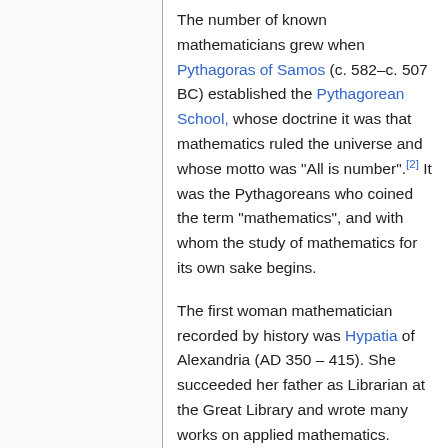The number of known mathematicians grew when Pythagoras of Samos (c. 582–c. 507 BC) established the Pythagorean School, whose doctrine it was that mathematics ruled the universe and whose motto was "All is number".[2] It was the Pythagoreans who coined the term "mathematics", and with whom the study of mathematics for its own sake begins.
The first woman mathematician recorded by history was Hypatia of Alexandria (AD 350 – 415). She succeeded her father as Librarian at the Great Library and wrote many works on applied mathematics. Because of a political dispute, the Christian community in Alexandria punished her, presuming she was involved, by stripping her naked and scraping off her skin with clamshells.